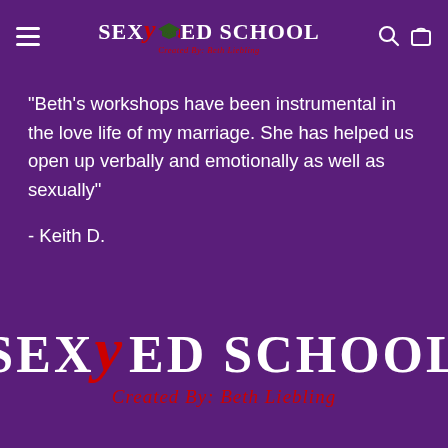Sex Ed School — Created By: Beth Liebling — navigation bar with menu, search, and cart icons
"Beth's workshops have been instrumental in the love life of my marriage. She has helped us open up verbally and emotionally as well as sexually"
- Keith D.
[Figure (logo): Sex Ed School logo — large white serif text 'SEXY ED SCHOOL' with red italic Y, green graduation cap, and red italic tagline 'Created By: Beth Liebling']